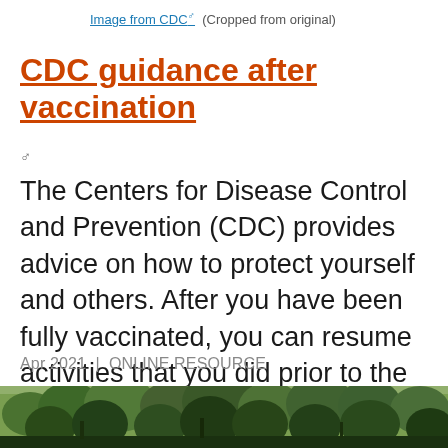Image from CDC (Cropped from original)
CDC guidance after vaccination
The Centers for Disease Control and Prevention (CDC) provides advice on how to protect yourself and others. After you have been fully vaccinated, you can resume activities that you did prior to the pandemic.
Apr 2021  |  ONLINE RESOURCE
[Figure (photo): Outdoor scene with trees and landscape, cropped at bottom of page]